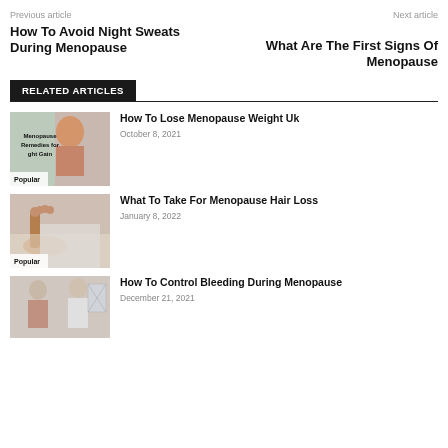Previous article
Next article
How To Avoid Night Sweats During Menopause
What Are The First Signs Of Menopause
RELATED ARTICLES
[Figure (photo): Woman smiling with overlay text: Menopause Remedies for Weight Gain. Tag: Popular]
How To Lose Menopause Weight Uk
October 8, 2021
[Figure (photo): Person holding hairbrush and hair. Tag: Popular]
What To Take For Menopause Hair Loss
January 8, 2022
[Figure (photo): Elderly woman with doctor looking at x-ray]
How To Control Bleeding During Menopause
December 21, 2021